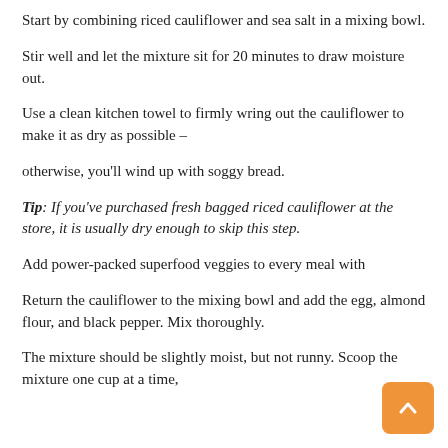Start by combining riced cauliflower and sea salt in a mixing bowl.
Stir well and let the mixture sit for 20 minutes to draw moisture out.
Use a clean kitchen towel to firmly wring out the cauliflower to make it as dry as possible –
otherwise, you'll wind up with soggy bread.
Tip: If you've purchased fresh bagged riced cauliflower at the store, it is usually dry enough to skip this step.
Add power-packed superfood veggies to every meal with
Return the cauliflower to the mixing bowl and add the egg, almond flour, and black pepper. Mix thoroughly.
The mixture should be slightly moist, but not runny. Scoop the mixture one cup at a time,